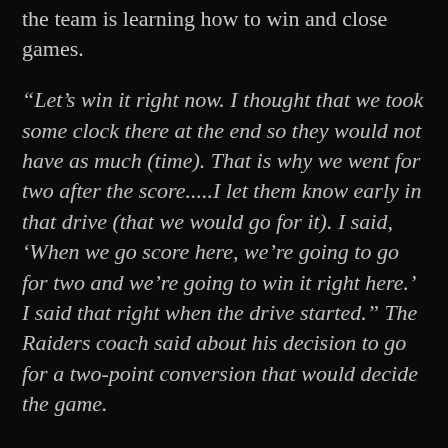the team is learning how to win and close games.
“Let’s win it right now. I thought that we took some clock there at the end so they would not have as much (time). That is why we went for two after the score.....I let them know early in that drive (that we would go for it). I said, ‘When we go score here, we’re going to go for two and we’re going to win it right here.’ I said that right when the drive started.” The Raiders coach said about his decision to go for a two-point conversion that would decide the game.
Quarterback Derek Carr on the playcall:
“When I got the call, I took a deep breath, made